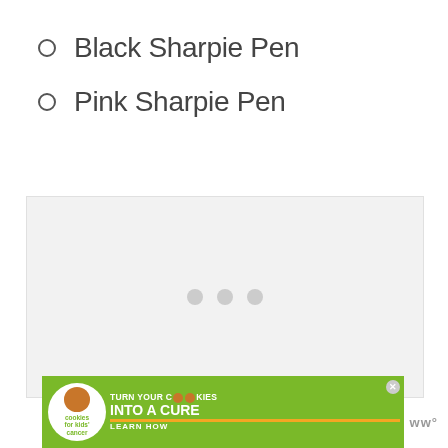Black Sharpie Pen
Pink Sharpie Pen
[Figure (other): Loading placeholder box with three gray dots indicating content loading]
[Figure (other): Advertisement banner: Cookies for Kids Cancer - turn your cookies into a CURE LEARN HOW]